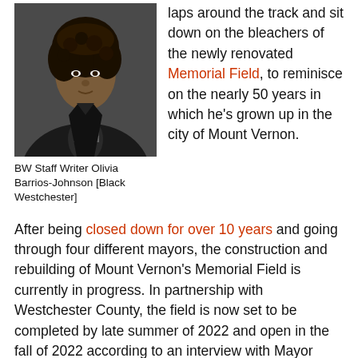[Figure (photo): Professional headshot of BW Staff Writer Olivia Barrios-Johnson, a woman with curly hair wearing a black blazer with a patterned shirt, against a dark gray background.]
BW Staff Writer Olivia Barrios-Johnson [Black Westchester]
laps around the track and sit down on the bleachers of the newly renovated Memorial Field, to reminisce on the nearly 50 years in which he's grown up in the city of Mount Vernon.
After being closed down for over 10 years and going through four different mayors, the construction and rebuilding of Mount Vernon's Memorial Field is currently in progress. In partnership with Westchester County, the field is now set to be completed by late summer of 2022 and open in the fall of 2022 according to an interview with Mayor Shawyn Patterson-Howard.
Like Jones, many residents of Mount Vernon have long awaited the reopening of Memorial Field. A place where